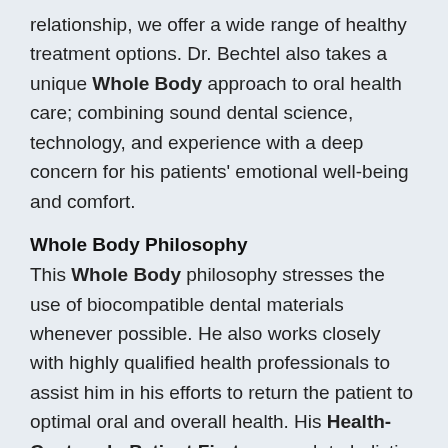relationship, we offer a wide range of healthy treatment options. Dr. Bechtel also takes a unique Whole Body approach to oral health care; combining sound dental science, technology, and experience with a deep concern for his patients' emotional well-being and comfort.
Whole Body Philosophy
This Whole Body philosophy stresses the use of biocompatible dental materials whenever possible. He also works closely with highly qualified health professionals to assist him in his efforts to return the patient to optimal oral and overall health. His Health-Centered - Patient First approach to holistic dentistry means that he treats the teeth, jaw, and related oral structures, with specific